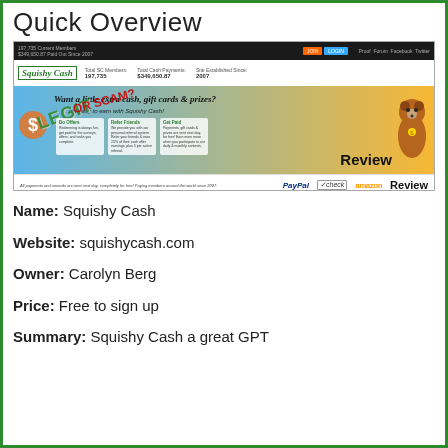Quick Overview
[Figure (screenshot): Screenshot of Squishy Cash website showing header with member count 197,735, total cash payments $349,650.87, established since 2007, banner with 'Want a little extra cash, gift cards & prizes?', 'LEGIT OR SCAM?' overlay text, PayPal, check, and Amazon payment logos, and 'Review' text]
Name: Squishy Cash
Website: squishycash.com
Owner: Carolyn Berg
Price: Free to sign up
Summary: Squishy Cash a great GPT